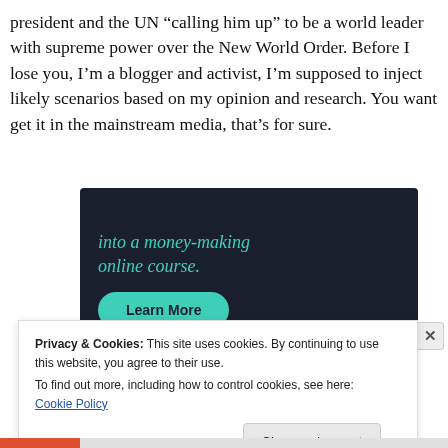president and the UN “calling him up” to be a world leader with supreme power over the New World Order. Before I lose you, I’m a blogger and activist, I’m supposed to inject likely scenarios based on my opinion and research. You want get it in the mainstream media, that’s for sure.
[Figure (infographic): Dark navy advertisement banner with teal/green italic text reading 'into a money-making online course.' and a teal rounded 'Learn More' button.]
Privacy & Cookies: This site uses cookies. By continuing to use this website, you agree to their use.
To find out more, including how to control cookies, see here: Cookie Policy
Close and accept